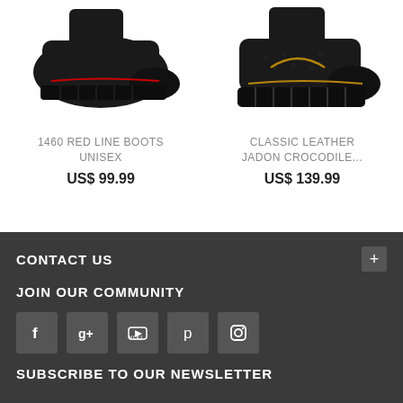[Figure (photo): Black leather boot with red laces and red stitching, chunky sole, left side view]
1460 RED LINE BOOTS UNISEX
US$ 99.99
[Figure (photo): Black leather boot with gold/yellow stitching and crocodile texture, chunky Jadon sole, right side view]
CLASSIC LEATHER JADON CROCODILE...
US$ 139.99
CONTACT US
JOIN OUR COMMUNITY
[Figure (infographic): Five social media icon buttons: Facebook, Google+, YouTube, Pinterest, Instagram]
SUBSCRIBE TO OUR NEWSLETTER